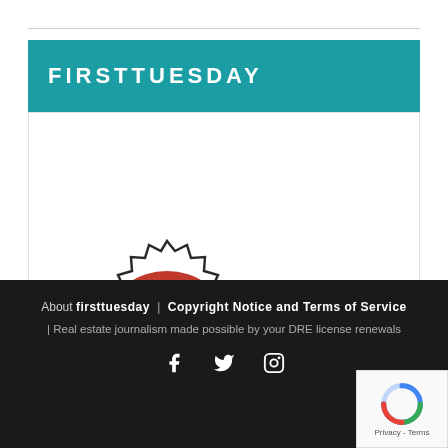FIRSTTUESDAY
[Figure (logo): Most Popular in California badge - red ribbon/crown seal with stars and zigzag border, red and black colors]
firsttuesday ranked most popular real estate school in California by Redfin
About firsttuesday | Copyright Notice and Terms of Service | Real estate journalism made possible by your DRE license renewals